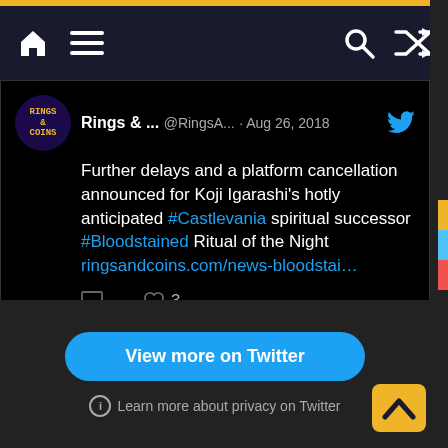Navigation bar with home, menu, search, and shuffle icons
[Figure (screenshot): Tweet from Rings & ... @RingsA... Aug 26, 2018: Further delays and a platform cancellation announced for Koji Igarashi's hotly anticipated #Castlevania spiritual successor #Bloodstained Ritual of the Night ringsandcoins.com/news-bloodstai... — 3 likes]
[Figure (screenshot): Tweet from Rings & C... @RingsAn... Nov 2, 2017: #SquareEnix reveal the brand new intro for the #SecretofMana remake. ringsandcoins.com/news-secret-of... — 2 likes]
View more on Twitter
Learn more about privacy on Twitter